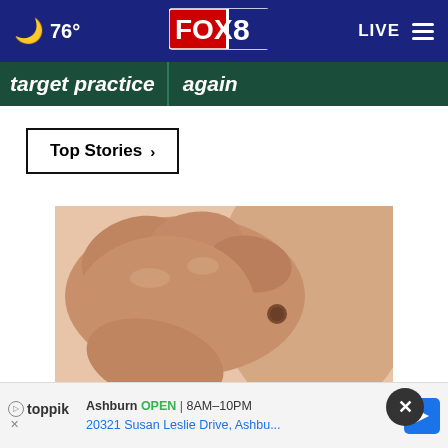🌙 76° | FOX 8 | LIVE
target practice | again
Top Stories ›
[Figure (photo): Close-up of a hand scratching skin with a mole/lesion, on a light background — illustrating plaque psoriasis article]
Do You Know What Plaque Psoriasis
Ashburn OPEN | 8AM–10PM
20321 Susan Leslie Drive, Ashbu...